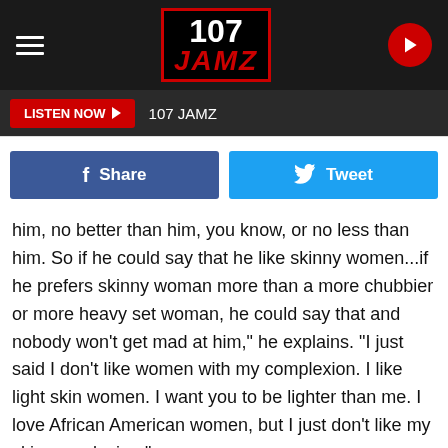[Figure (logo): 107 JAMZ radio station logo in black box with red border, white 107 text and red italic JAMZ text]
LISTEN NOW ▶  107 JAMZ
[Figure (screenshot): Facebook Share button (blue) and Twitter Tweet button (light blue) social sharing buttons]
him, no better than him, you know, or no less than him. So if he could say that he like skinny women...if he prefers skinny woman more than a more chubbier or more heavy set woman, he could say that and nobody won't get mad at him," he explains. "I just said I don't like women with my complexion. I like light skin women. I want you to be lighter than me. I love African American women, but I just don't like my skin complexion."
He then goes on to say that light skin women are "more sensitive," commenting that they can be broken down more